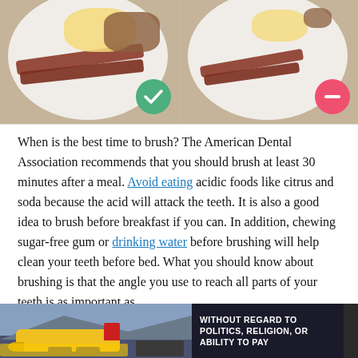[Figure (photo): Two side-by-side photos of breakfast plates with bacon, eggs, and potatoes. Left plate has a green checkmark badge; right plate has a red minus/no badge.]
When is the best time to brush? The American Dental Association recommends that you should brush at least 30 minutes after a meal. Avoid eating acidic foods like citrus and soda because the acid will attack the teeth. It is also a good idea to brush before breakfast if you can. In addition, chewing sugar-free gum or drinking water before brushing will help clean your teeth before bed. What you should know about brushing is that the angle you use to reach all parts of your teeth is as important as
[Figure (photo): Advertisement banner showing cargo planes being loaded, with white text reading WITHOUT REGARD TO POLITICS, RELIGION, OR ABILITY TO PAY]